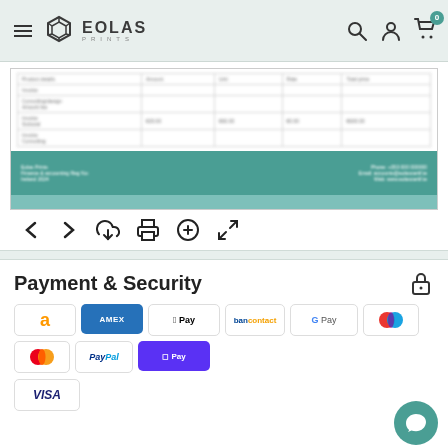Eolas Prints — site header with navigation and cart (0 items)
[Figure (screenshot): Document preview showing a blurred table with teal footer bar and document toolbar with navigation, download, print, zoom, and fullscreen icons]
Payment & Security
[Figure (infographic): Payment method badges: Amazon, American Express, Apple Pay, Bancontact, Google Pay, Maestro, Mastercard, PayPal, Shop Pay, Visa]
Your payment information is processed securely. We do not store credit card details nor have access to your credit card information